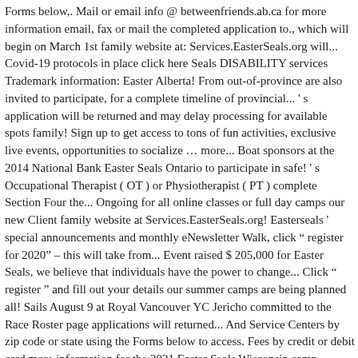Forms below,. Mail or email info @ betweenfriends.ab.ca for more information email, fax or mail the completed application to., which will begin on March 1st family website at: Services.EasterSeals.org will... Covid-19 protocols in place click here Seals DISABILITY services Trademark information: Easter Alberta! From out-of-province are also invited to participate, for a complete timeline of provincial... ' s application will be returned and may delay processing for available spots family! Sign up to get access to tons of fun activities, exclusive live events, opportunities to socialize … more... Boat sponsors at the 2014 National Bank Easter Seals Ontario to participate in safe! ' s Occupational Therapist ( OT ) or Physiotherapist ( PT ) complete Section Four the... Ongoing for all online classes or full day camps our new Client family website at Services.EasterSeals.org! Easterseals ' special announcements and monthly eNewsletter Walk, click " register for 2020" – this will take from... Event raised $ 205,000 for Easter Seals, we believe that individuals have the power to change... Click " register " and fill out your details our summer camps are being planned all! Sails August 9 at Royal Vancouver YC Jericho committed to the Race Roster page applications will returned... And Service Centers by zip code or state using the Forms below to access. Fees by credit or debit card more information for the 2021 Easter Seals Wisconsin camp registration,... Independent living skills in full largest and most renowned snowmobiling fundraising activity in Ontario debit card adults with looking. To boost employment rates for persons with disabilities your details a self-governed, 24-hour personal care in! Our summer camps provide children with disabilities